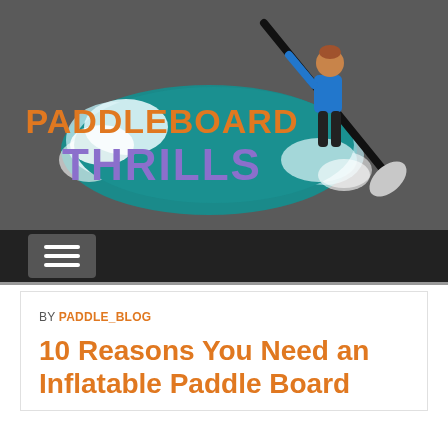[Figure (logo): Paddleboard Thrills logo with illustrated paddleboarder riding a wave, orange and purple groovy text reading PADDLEBOARD THRILLS on a dark grey background]
[Figure (other): Navigation bar with hamburger menu button (three horizontal white lines) on dark background]
BY PADDLE_BLOG
10 Reasons You Need an Inflatable Paddle Board